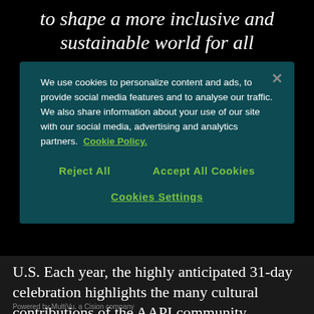to shape a more inclusive and sustainable world for all
We use cookies to personalize content and ads, to provide social media features and to analyse our traffic. We also share information about your use of our site with our social media, advertising and analytics partners. Cookie Policy.
Reject All
Accept All Cookies
Cookies Settings
U.S. Each year, the highly anticipated 31-day celebration highlights the many cultural contributions of the AAPI community, offering a robust roster of traditional and contemporary experiences across design, fashion, food and so much
Powered by MultiVu, a Cision company